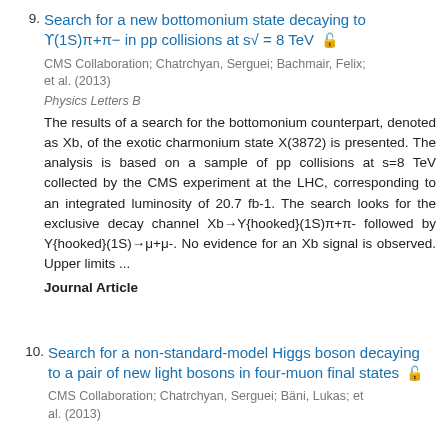9. Search for a new bottomonium state decaying to ϒ(1S)π+π− in pp collisions at s√ = 8 TeV
CMS Collaboration; Chatrchyan, Serguei; Bachmair, Felix; et al. (2013)
Physics Letters B
The results of a search for the bottomonium counterpart, denoted as Xb, of the exotic charmonium state X(3872) is presented. The analysis is based on a sample of pp collisions at s=8 TeV collected by the CMS experiment at the LHC, corresponding to an integrated luminosity of 20.7 fb-1. The search looks for the exclusive decay channel Xb→Y{hooked}(1S)π+π- followed by Y{hooked}(1S)→μ+μ-. No evidence for an Xb signal is observed. Upper limits ...
Journal Article
10. Search for a non-standard-model Higgs boson decaying to a pair of new light bosons in four-muon final states
CMS Collaboration; Chatrchyan, Serguei; Bäni, Lukas; et al. (2013)